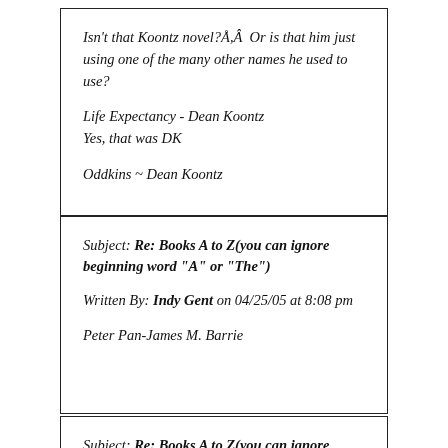Isn't that Koontz novel?Å,Â  Or is that him just using one of the many other names he used to use?

Life Expectancy - Dean Koontz
Yes, that was DK

Oddkins ~ Dean Koontz
Subject: Re: Books A to Z(you can ignore beginning word "A" or "The")

Written By: Indy Gent on 04/25/05 at 8:08 pm

Peter Pan-James M. Barrie
Subject: Re: Books A to Z(you can ignore